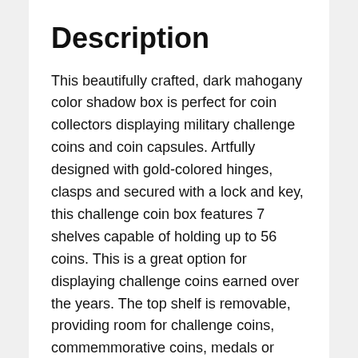Description
This beautifully crafted, dark mahogany color shadow box is perfect for coin collectors displaying military challenge coins and coin capsules. Artfully designed with gold-colored hinges, clasps and secured with a lock and key, this challenge coin box features 7 shelves capable of holding up to 56 coins. This is a great option for displaying challenge coins earned over the years. The top shelf is removable, providing room for challenge coins, commemmorative coins, medals or items larger than 3 inches.
Each shelf has a 6mmx3mm groove that